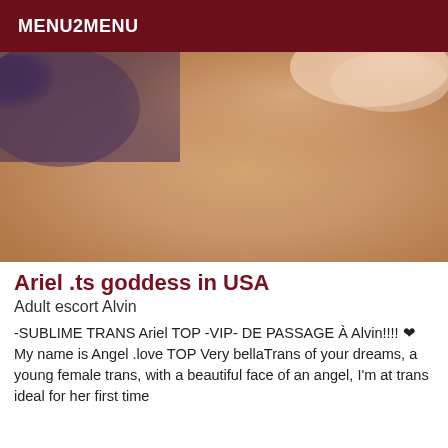MENU2MENU
[Figure (photo): Close-up photo of skin, with a dark patterned fabric visible in the upper left corner and a light-skinned body part in the upper right.]
Ariel .ts goddess in USA
Adult escort Alvin
-SUBLIME TRANS Ariel TOP -VIP- DE PASSAGE À Alvin!!!! ❤ My name is Angel .love TOP Very bellaTrans of your dreams, a young female trans, with a beautiful face of an angel, I'm at trans ideal for her first time